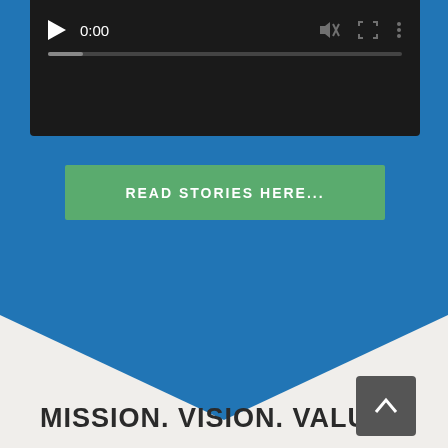[Figure (screenshot): Video player bar with play button showing 0:00, mute icon, fullscreen icon, and more options icon on dark background, with progress bar below]
READ STORIES HERE...
[Figure (illustration): Blue chevron/arrow pointing downward, transitioning from blue section to light gray background]
MISSION. VISION. VALUES.